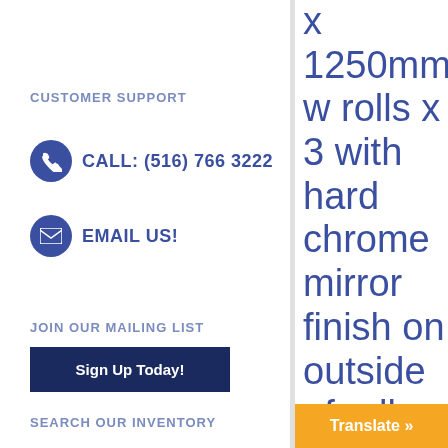CUSTOMER SUPPORT
CALL: (516) 766 3222
EMAIL US!
JOIN OUR MAILING LIST
Sign Up Today!
SEARCH OUR INVENTORY
x 1250mm w rolls x 3 with hard chrome mirror finish on outside of rolls, and driven by
Translate »